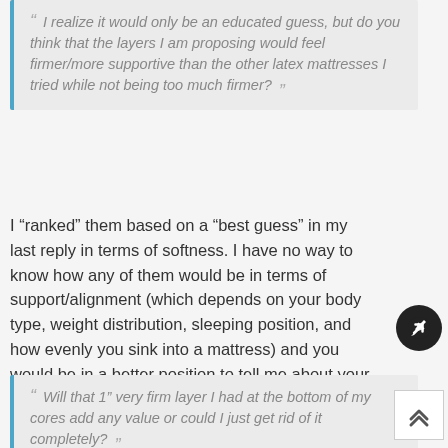“ I realize it would only be an educated guess, but do you think that the layers I am proposing would feel firmer/more supportive than the other latex mattresses I tried while not being too much firmer? ”
I “ranked” them based on a “best guess” in my last reply in terms of softness. I have no way to know how any of them would be in terms of support/alignment (which depends on your body type, weight distribution, sleeping position, and how evenly you sink into a mattress) and you would be in a better position to tell me about your alignment on a mattress than the other way around.
“ Will that 1” very firm layer I had at the bottom of my cores add any value or could I just get rid of it completely? ”